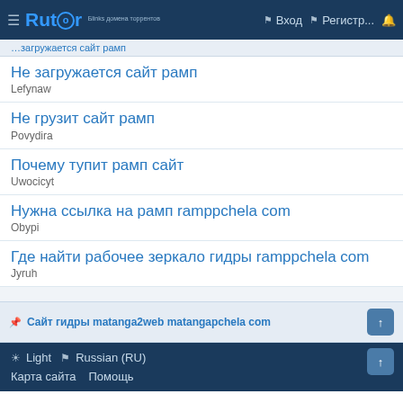Rutor — навигатор торрентов | Вход | Регистр...
Не загружается сайт рамп
Lefynaw
Не грузит сайт рамп
Povydira
Почему тупит рамп сайт
Uwocicyt
Нужна ссылка на рамп ramppchela com
Obypi
Где найти рабочее зеркало гидры ramppchela com
Jyruh
Сайт гидры matanga2web matangapchela com
☀ Light  ⚑ Russian (RU)
Карта сайта  Помощь